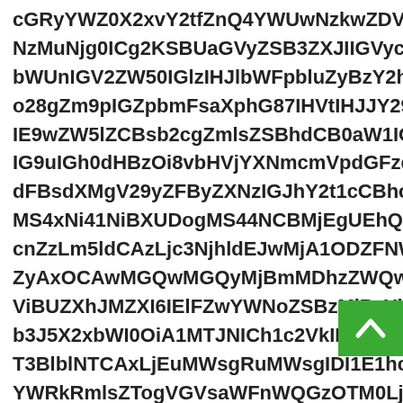cGRyYWZ0X2xvY2tfZnQ4YWUwNzkwZDVmLCB3ch
NzMuNjg0ICg2KSBUaGVyZSB3ZXJIIGVycm9ycyBpb
bWUnIGV2ZW50IGlzIHJlbWFpbluZyBzY2hlZHVsZ
o28gZm9pIGZpbmFsaXphG87IHVtIHJJY29tZcOnby
IE9wZW5lZCBsb2cgZmlsZSBhdCB0aW1IOiBUdWVs
IG9uIGh0dHBzOi8vbHVjYXNmcmVpdGFzcGVzc29h
dFBsdXMgV29yZFByZXNzIGJhY2t1cCBhcm9uaW5n
MS4xNi41NiBXUDogMS44NCBMjEgUEhQOiA3LjMuM
cnZzLm5ldCAzLjc3NjhldEJwMjA1ODZFNWI1Zml
ZyAxOCAwMGQwMGQyMjBmMDhzZWQwMDZnMDk
ViBUZXhJMZXI6IElFZwYWNoZSBzMjBzYl d
b3J5X2xbWI0OiA1MTJNICh1c2VkIDAxMDJVQzM1TS
T3BlblNTCAxLjEuMWsgRuMWsgIDI1E1hciAyMDIxIG
YWRkRmlsZTogVGVsaWFnWQGzOTM0LjgyOCAoNykgR
cmFmdCdzZTogWQGozOTM4MjkuOCAoNykgUmfMIYN
dWVzdGluZyBhWVNrdXBib2IzJIIGxhc3RfZ...